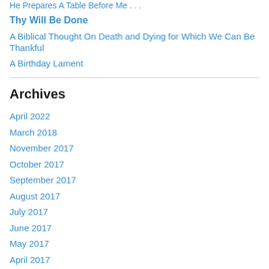He Prepares A Table Before Me . . .
Thy Will Be Done
A Biblical Thought On Death and Dying for Which We Can Be Thankful
A Birthday Lament
Archives
April 2022
March 2018
November 2017
October 2017
September 2017
August 2017
July 2017
June 2017
May 2017
April 2017
March 2017
February 2017
January 2017